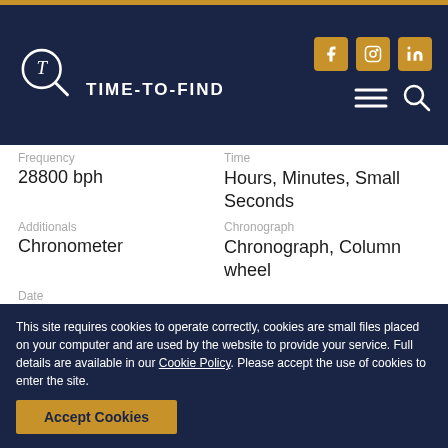[Figure (logo): Time-To-Find logo with magnifying glass T icon and brand name in white on dark navy header, with social media icons (Facebook, Instagram, LinkedIn) in orange squares, and hamburger menu and search icons]
Frequency
28800 bph
Time
Hours, Minutes, Small Seconds
Additionals
Chronometer
Chronograph
Chronograph, Column wheel
Date
Date
This site requires cookies to operate correctly, cookies are small files placed on your computer and are used by the website to provide your service. Full details are available in our Cookie Policy. Please accept the use of cookies to enter the site.
Accept Cookies